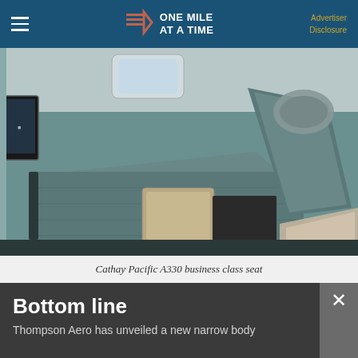ONE MILE AT A TIME | Advertiser Disclosure
[Figure (photo): Cathay Pacific A330 business class seat in lie-flat position, showing teal/grey upholstered seat with pillow, tray table, and IFE screen]
Cathay Pacific A330 business class seat
Bottom line
Thompson Aero has unveiled a new narrow body